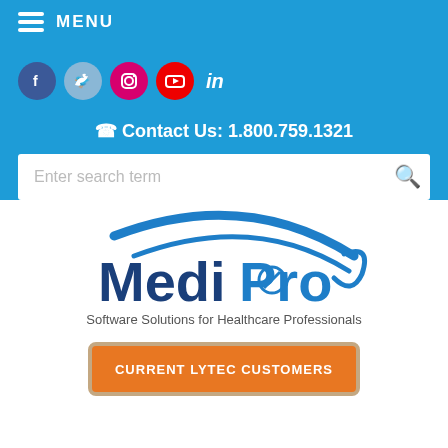MENU
Contact Us: 1.800.759.1321
Enter search term
[Figure (logo): MediPro logo with blue swoosh arc and text 'MediPro — Software Solutions for Healthcare Professionals']
CURRENT LYTEC CUSTOMERS